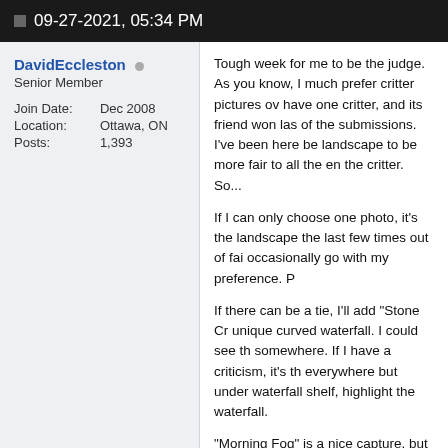09-27-2021, 05:34 PM
DavidEccleston ○
Senior Member
| Join Date: | Dec 2008 |
| Location: | Ottawa, ON |
| Posts: | 1,393 |
Tough week for me to be the judge. As you know, I much prefer critter pictures over landscape to be more fair to all the entries with the critter. So...

If I can only choose one photo, it's the landscape the last few times out of fairness, occasionally go with my preference. P

If there can be a tie, I'll add "Stone Cr unique curved waterfall. I could see th somewhere. If I have a criticism, it's th everywhere but under waterfall shelf, highlight the waterfall.

"Morning Fog" is a nice capture, but I much fog would be a nicer view, too m If there's a cabin up there with this vie wall there, but otherwise I'd rather hav morning fogs are very low, sitting only level. The height of the fog has me wo and the black and white treatment is t be wrong, but the fact that it springs to the image.